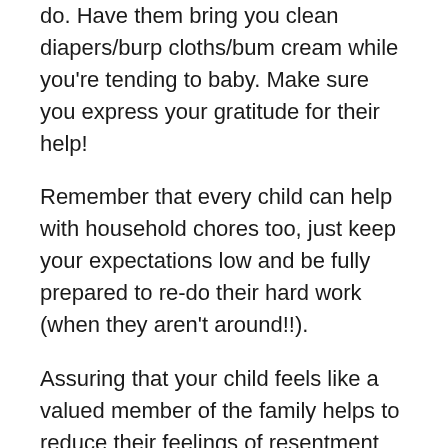do. Have them bring you clean diapers/burp cloths/bum cream while you're tending to baby. Make sure you express your gratitude for their help!
Remember that every child can help with household chores too, just keep your expectations low and be fully prepared to re-do their hard work (when they aren't around!!).
Assuring that your child feels like a valued member of the family helps to reduce their feelings of resentment toward their fresh sibling.
ROUTINE, ROUTINE, ROUTINE
I can't stress the importance of a steady routine and children enough, but especially through tough transitions like welcoming a baby into the home